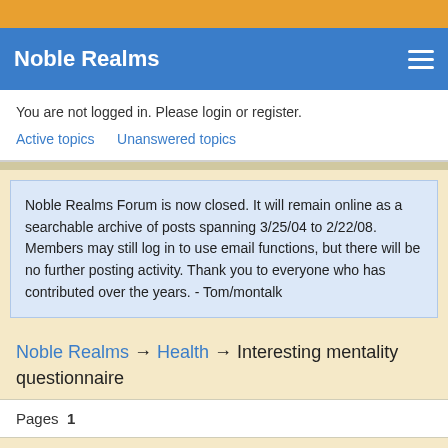Noble Realms
You are not logged in. Please login or register.
Active topics   Unanswered topics
Noble Realms Forum is now closed. It will remain online as a searchable archive of posts spanning 3/25/04 to 2/22/08. Members may still log in to use email functions, but there will be no further posting activity. Thank you to everyone who has contributed over the years. - Tom/montalk
Noble Realms → Health → Interesting mentality questionnaire
Pages  1
You must login or register to post a reply
RSS topic feed